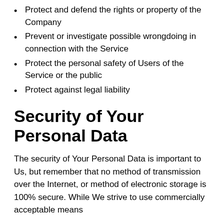Protect and defend the rights or property of the Company
Prevent or investigate possible wrongdoing in connection with the Service
Protect the personal safety of Users of the Service or the public
Protect against legal liability
Security of Your Personal Data
The security of Your Personal Data is important to Us, but remember that no method of transmission over the Internet, or method of electronic storage is 100% secure. While We strive to use commercially acceptable means